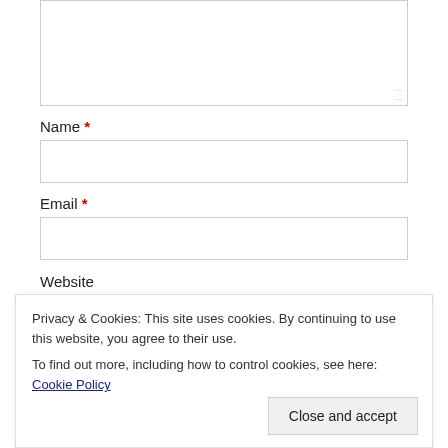[Figure (screenshot): A textarea (comment input box) with a resize handle at the bottom-right corner, partially visible at the top of the page.]
Name *
[Figure (screenshot): An empty text input field for Name.]
Email *
[Figure (screenshot): An empty text input field for Email.]
Website
Privacy & Cookies: This site uses cookies. By continuing to use this website, you agree to their use.
To find out more, including how to control cookies, see here: Cookie Policy
Close and accept